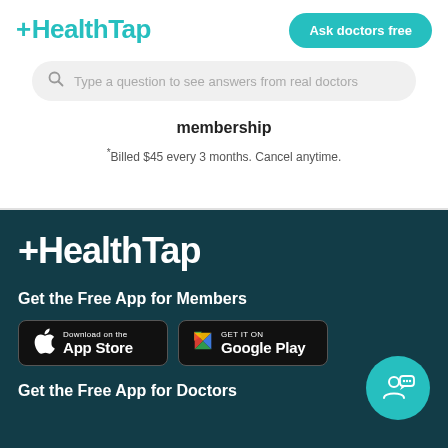[Figure (logo): HealthTap logo in teal]
Ask doctors free
Type a question to see answers from real doctors
membership
*Billed $45 every 3 months. Cancel anytime.
[Figure (logo): HealthTap white logo on dark teal background]
Get the Free App for Members
[Figure (other): Download on the App Store button]
[Figure (other): Get it on Google Play button]
Get the Free App for Doctors
[Figure (other): Teal circle with doctor/chat icon]